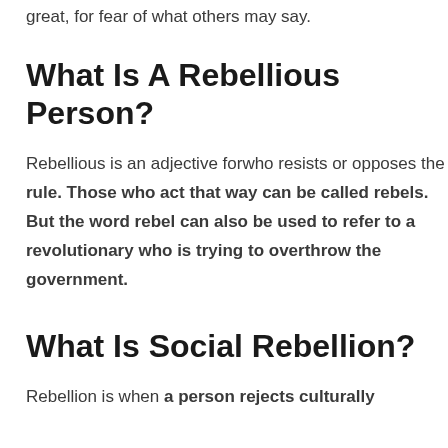great, for fear of what others may say.
What Is A Rebellious Person?
Rebellious is an adjective forwho resists or opposes the rule. Those who act that way can be called rebels. But the word rebel can also be used to refer to a revolutionary who is trying to overthrow the government.
What Is Social Rebellion?
Rebellion is when a person rejects culturally established. Social rebellion occurs when a